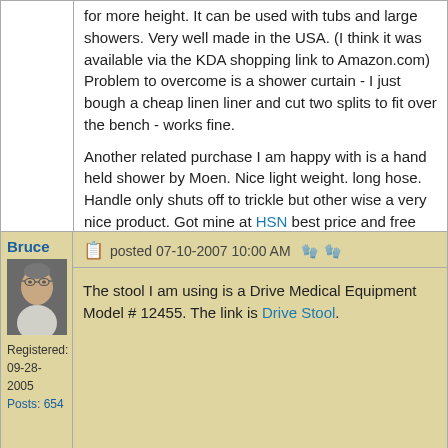for more height. It can be used with tubs and large showers. Very well made in the USA. (I think it was available via the KDA shopping link to Amazon.com) Problem to overcome is a shower curtain - I just bough a cheap linen liner and cut two splits to fit over the bench - works fine.

Another related purchase I am happy with is a hand held shower by Moen. Nice light weight. long hose. Handle only shuts off to trickle but other wise a very nice product. Got mine at HSN best price and free shipping.

================
email:rheitzman at gmail
Bruce
Registered: 09-28-2005
Posts: 654
posted 07-10-2007 10:00 AM

The stool I am using is a Drive Medical Equipment Model # 12455. The link is Drive Stool.